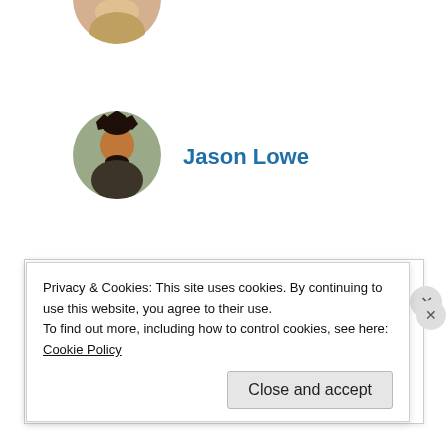[Figure (photo): Partial avatar photo at top, cropped]
Jason Lowe
[Figure (photo): Photo of Jason Lowe, circular avatar]
Tam Nguyen
[Figure (illustration): Geometric pattern avatar for Tam Nguyen, teal/white diamond pattern]
Labanish
[Figure (photo): Photo of Labanish, circular avatar, outdoor with trees]
lmukadam
[Figure (photo): Partial photo of lmukadam, circular avatar, cropped at bottom]
Privacy & Cookies: This site uses cookies. By continuing to use this website, you agree to their use.
To find out more, including how to control cookies, see here:
Cookie Policy
Close and accept